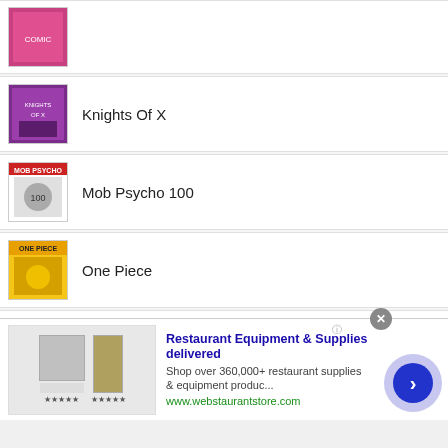(partial item at top — comic thumbnail only)
Knights Of X
Mob Psycho 100
One Piece
Star Wars: Obi-Wan Kenobi (2022-)
Gambit (2022-)
Chainsaw Man
[Figure (screenshot): Advertisement banner: Restaurant Equipment & Supplies delivered. Shop over 360,000+ restaurant supplies & equipment produc... www.webstaurantstore.com]